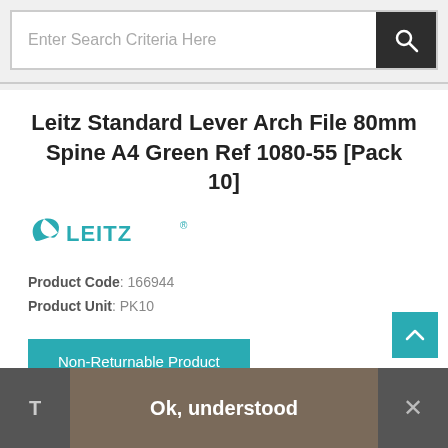Enter Search Criteria Here
Leitz Standard Lever Arch File 80mm Spine A4 Green Ref 1080-55 [Pack 10]
[Figure (logo): Leitz brand logo in teal/green color]
Product Code: 166944
Product Unit: PK10
Non-Returnable Product
FSC certified and Blue Angel accredited
Metal corner protection
Size: A4
T  Ok, understood  ✕